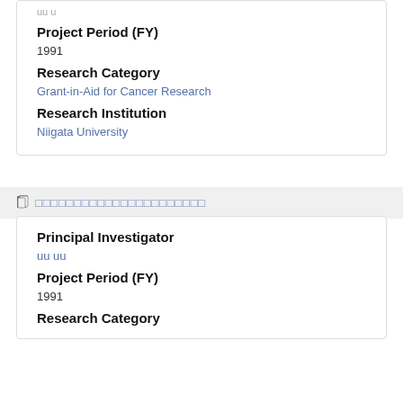uu u
Project Period (FY)
1991
Research Category
Grant-in-Aid for Cancer Research
Research Institution
Niigata University
□□□□□□□□□□□□□□□□□□□□□□
Principal Investigator
uu uu
Project Period (FY)
1991
Research Category